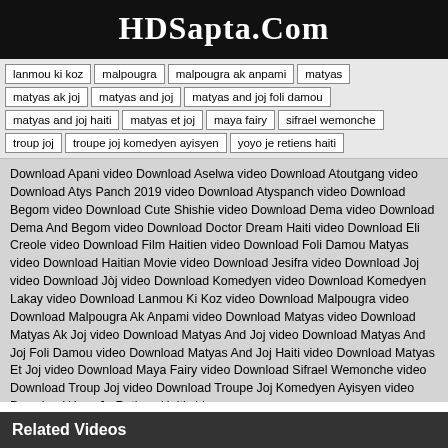HDSapta.Com
lanmou ki koz
malpougra
malpougra ak anpami
matyas
matyas ak joj
matyas and joj
matyas and joj foli damou
matyas and joj haiti
matyas et joj
maya fairy
sifrael wemonche
troup joj
troupe joj komedyen ayisyen
yoyo je retiens haiti
Download Apani video Download Aselwa video Download Atoutgang video Download Atys Panch 2019 video Download Atyspanch video Download Begom video Download Cute Shishie video Download Dema video Download Dema And Begom video Download Doctor Dream Haiti video Download Eli Creole video Download Film Haitien video Download Foli Damou Matyas video Download Haitian Movie video Download Jesifra video Download Joj video Download Jòj video Download Komedyen video Download Komedyen Lakay video Download Lanmou Ki Koz video Download Malpougra video Download Malpougra Ak Anpami video Download Matyas video Download Matyas Ak Joj video Download Matyas And Joj video Download Matyas And Joj Foli Damou video Download Matyas And Joj Haiti video Download Matyas Et Joj video Download Maya Fairy video Download Sifrael Wemonche video Download Troup Joj video Download Troupe Joj Komedyen Ayisyen video Download Yoyo Je Retiens Haiti video
Related Videos